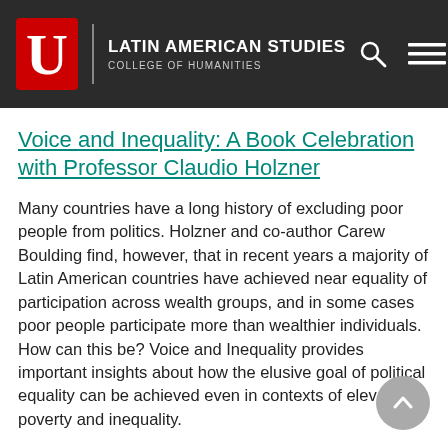LATIN AMERICAN STUDIES
COLLEGE OF HUMANITIES
Voice and Inequality: A Book Celebration with Professor Claudio Holzner
Many countries have a long history of excluding poor people from politics. Holzner and co-author Carew Boulding find, however, that in recent years a majority of Latin American countries have achieved near equality of participation across wealth groups, and in some cases poor people participate more than wealthier individuals. How can this be? Voice and Inequality provides important insights about how the elusive goal of political equality can be achieved even in contexts of elevated poverty and inequality.